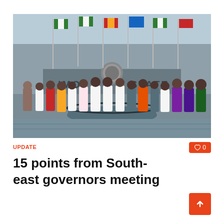[Figure (photo): Group photo of South-east governors and officials standing in front of IMO STATE government building with Nigerian flags in the background]
UPDATE
15 points from South-east governors meeting